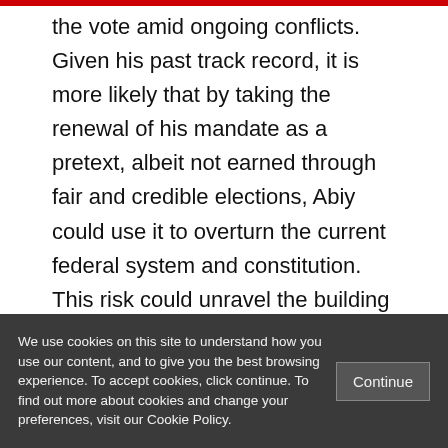the vote amid ongoing conflicts. Given his past track record, it is more likely that by taking the renewal of his mandate as a pretext, albeit not earned through fair and credible elections, Abiy could use it to overturn the current federal system and constitution. This risk could unravel the building blocks that hold the federation together and push the country further into the abyss. These problems cannot be
We use cookies on this site to understand how you use our content, and to give you the best browsing experience. To accept cookies, click continue. To find out more about cookies and change your preferences, visit our Cookie Policy.